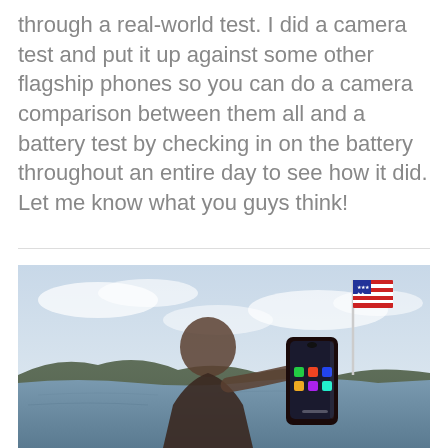through a real-world test. I did a camera test and put it up against some other flagship phones so you can do a camera comparison between them all and a battery test by checking in on the battery throughout an entire day to see how it did. Let me know what you guys think!
[Figure (photo): A person holding up a smartphone (showing its screen with app icons) outdoors near water, with an American flag and cloudy sky in the background.]